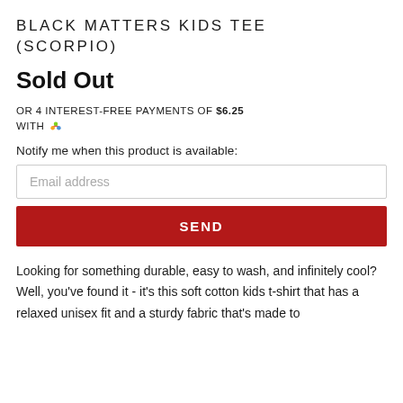BLACK MATTERS KIDS TEE (SCORPIO)
Sold Out
OR 4 INTEREST-FREE PAYMENTS OF $6.25 WITH [sezzle icon]
Notify me when this product is available:
Email address
SEND
Looking for something durable, easy to wash, and infinitely cool? Well, you've found it - it's this soft cotton kids t-shirt that has a relaxed unisex fit and a sturdy fabric that's made to